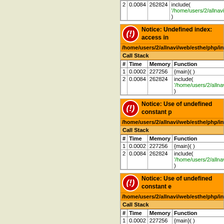| # | Time | Memory | Function |
| --- | --- | --- | --- |
| 2 | 0.0084 | 262824 | include(
'/home/users/2/allnavi/web/e...
) |
| # | Time | Memory | Function |
| --- | --- | --- | --- |
| 1 | 0.0002 | 227256 | {main}( ) |
| 2 | 0.0084 | 262824 | include(
'/home/users/2/allnavi/web/e...
) |
| # | Time | Memory | Function |
| --- | --- | --- | --- |
| 1 | 0.0002 | 227256 | {main}( ) |
| 2 | 0.0084 | 262824 | include(
'/home/users/2/allnavi/web/e...
) |
| # | Time | Memory | Function |
| --- | --- | --- | --- |
| 1 | 0.0002 | 227256 | {main}( ) |
| 2 | 0.0084 | 262824 | include(
'/home/users/2/allnavi/web/e...
) |